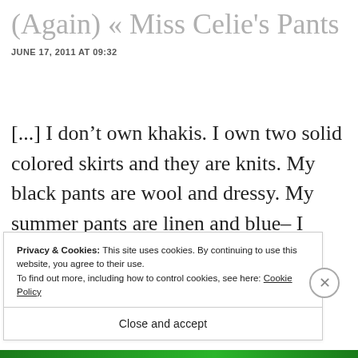(Again) « Miss Celie's Pants
JUNE 17, 2011 AT 09:32
[...] I don't own khakis. I own two solid colored skirts and they are knits. My black pants are wool and dressy. My summer pants are linen and blue– I don't want to look like a smurf. So, I quickly [...]
Privacy & Cookies: This site uses cookies. By continuing to use this website, you agree to their use.
To find out more, including how to control cookies, see here: Cookie Policy
Close and accept